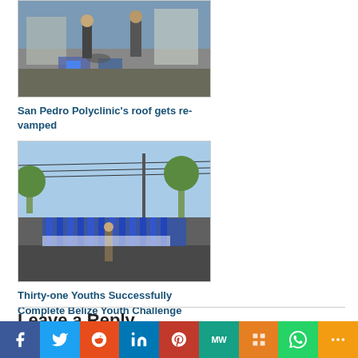[Figure (photo): Workers on a rooftop doing construction/repair work, with air conditioning units visible]
San Pedro Polyclinic's roof gets re-vamped
[Figure (photo): Group of youths in blue and white uniforms marching on a paved area, with a single figure standing in front, power lines and trees in background]
Thirty-one Youths Successfully Complete Belize Youth Challenge Programme
Leave a Reply
[Figure (infographic): Social media sharing bar with icons for Facebook, Twitter, Reddit, LinkedIn, Pinterest, MeWe, Mix, WhatsApp, and More]